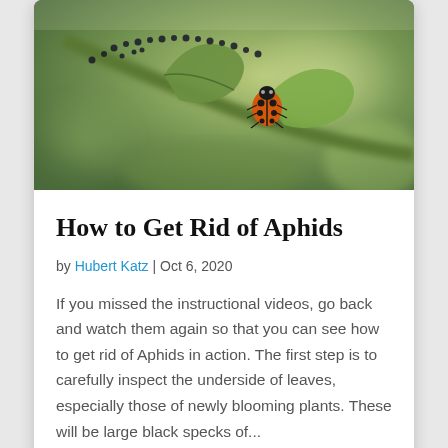[Figure (photo): Close-up macro photograph of a ladybug on a green plant stem covered with small black aphids, with a blurred green background.]
How to Get Rid of Aphids
by Hubert Katz | Oct 6, 2020
If you missed the instructional videos, go back and watch them again so that you can see how to get rid of Aphids in action. The first step is to carefully inspect the underside of leaves, especially those of newly blooming plants. These will be large black specks of...